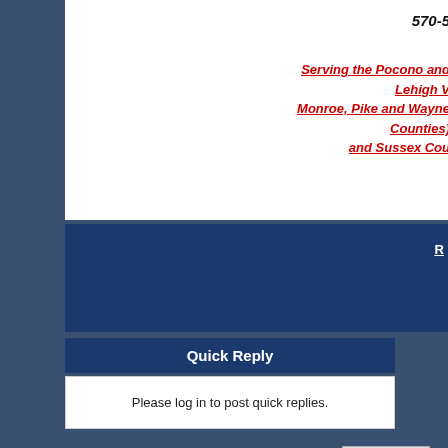570-...
Serving the Pocono and Lehigh V... Monroe, Pike and Wayne Counties)... and Sussex Cou...
R...
Quick Reply
Please log in to post quick replies.
Our Founders Website ->
Locate A Certified Roof Cleaner | Roof Cleaning Institute Of America ->
Certified Roof Cleaning Pennsylvania -> Certified Non Pressure Roof Cleaning in Central PA and Northern